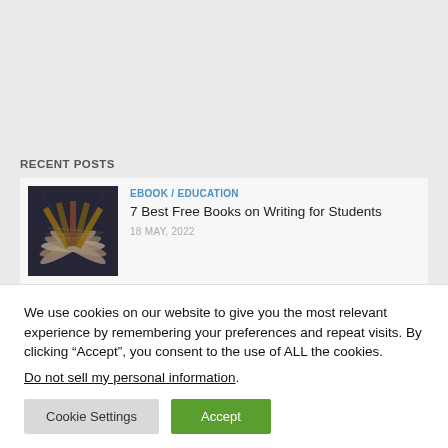RECENT POSTS
[Figure (photo): Stack of open books arranged in a fan pattern, dark atmospheric photo]
EBOOK / EDUCATION
7 Best Free Books on Writing for Students
18 MAY, 2022
We use cookies on our website to give you the most relevant experience by remembering your preferences and repeat visits. By clicking “Accept”, you consent to the use of ALL the cookies.
Do not sell my personal information.
Cookie Settings
Accept